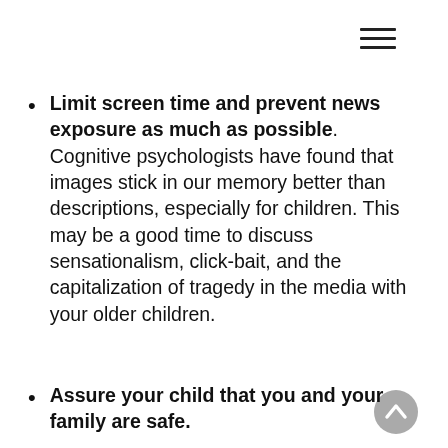[Figure (other): Hamburger menu icon (three horizontal lines) in top right]
Limit screen time and prevent news exposure as much as possible. Cognitive psychologists have found that images stick in our memory better than descriptions, especially for children. This may be a good time to discuss sensationalism, click-bait, and the capitalization of tragedy in the media with your older children.
Assure your child that you and your family are safe.